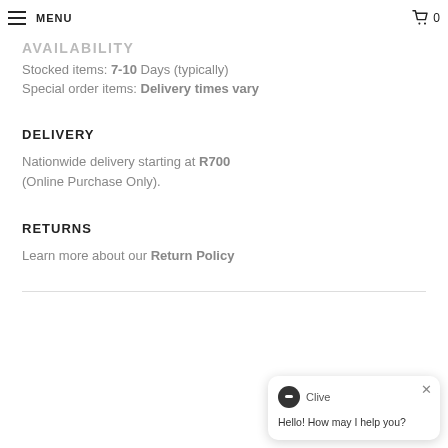MENU | 0
AVAILABILITY
Stocked items: 7-10 Days (typically)
Special order items: Delivery times vary
DELIVERY
Nationwide delivery starting at R700 (Online Purchase Only).
RETURNS
Learn more about our Return Policy
[Figure (screenshot): Live chat widget with avatar labeled 'Clive' and message 'Hello! How may I help you?']